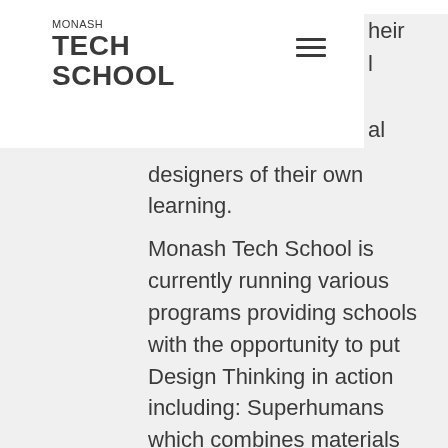MONASH TECH SCHOOL
designers of their own learning.
Monash Tech School is currently running various programs providing schools with the opportunity to put Design Thinking in action including: Superhumans which combines materials science with advanced manufacturing; Superpowers which provides a new look at energy solutions; Superhealth where students can design solutions for health science; Superproblems where solutions are designed for real-world problems; and VCE: Superminds, which provides a